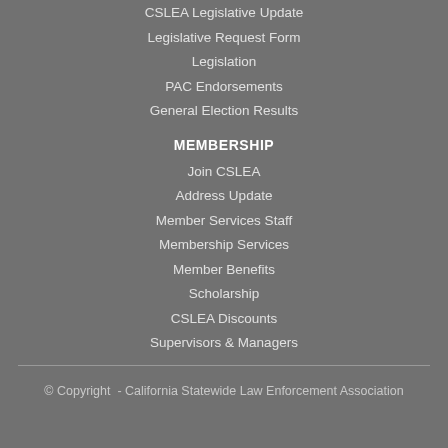CSLEA Legislative Update
Legislative Request Form
Legislation
PAC Endorsements
General Election Results
MEMBERSHIP
Join CSLEA
Address Update
Member Services Staff
Membership Services
Member Benefits
Scholarship
CSLEA Discounts
Supervisors & Managers
© Copyright  - California Statewide Law Enforcement Association